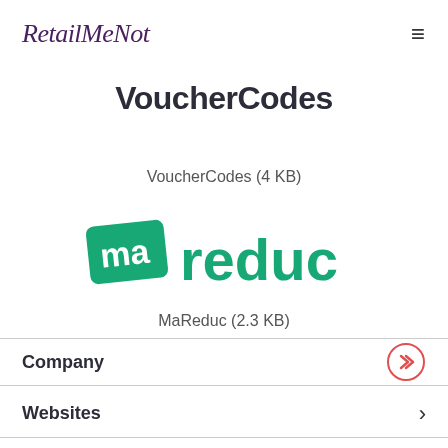RetailMeNot
[Figure (logo): VoucherCodes logo in bold dark text]
VoucherCodes (4 KB)
[Figure (logo): MaReduc logo with green 'ma' badge and 'reduc' text]
MaReduc (2.3 KB)
Company
Websites